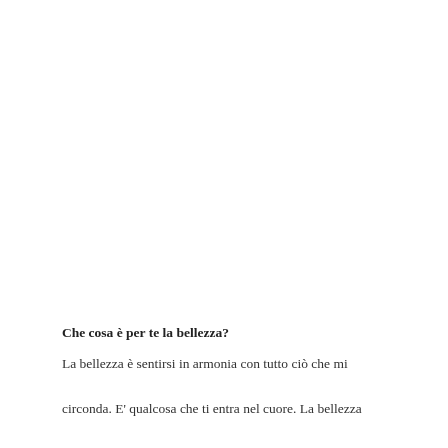Che cosa è per te la bellezza?
La bellezza è sentirsi in armonia con tutto ciò che mi circonda. E' qualcosa che ti entra nel cuore. La bellezza